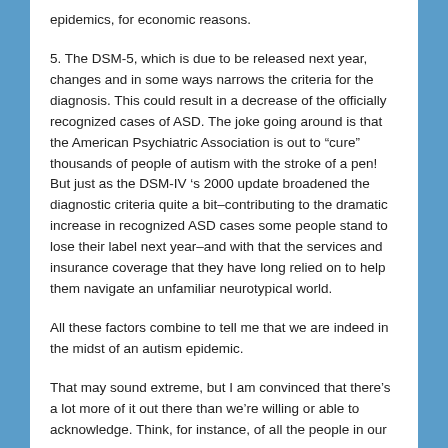epidemics, for economic reasons.
5. The DSM-5, which is due to be released next year, changes and in some ways narrows the criteria for the diagnosis. This could result in a decrease of the officially recognized cases of ASD. The joke going around is that the American Psychiatric Association is out to "cure" thousands of people of autism with the stroke of a pen! But just as the DSM-IV 's 2000 update broadened the diagnostic criteria quite a bit–contributing to the dramatic increase in recognized ASD cases some people stand to lose their label next year–and with that the services and insurance coverage that they have long relied on to help them navigate an unfamiliar neurotypical world.
All these factors combine to tell me that we are indeed in the midst of an autism epidemic.
That may sound extreme, but I am convinced that there's a lot more of it out there than we're willing or able to acknowledge. Think, for instance, of all the people in our